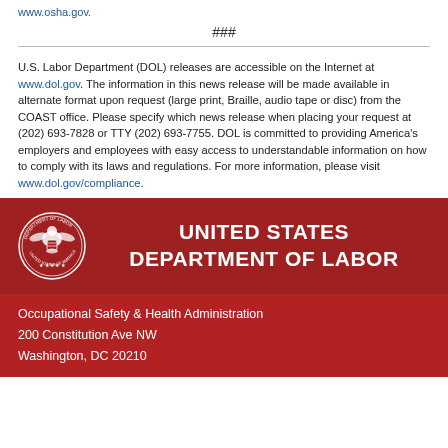www.osha.gov.
###
U.S. Labor Department (DOL) releases are accessible on the Internet at www.dol.gov. The information in this news release will be made available in alternate format upon request (large print, Braille, audio tape or disc) from the COAST office. Please specify which news release when placing your request at (202) 693-7828 or TTY (202) 693-7755. DOL is committed to providing America's employers and employees with easy access to understandable information on how to comply with its laws and regulations. For more information, please visit www.dol.gov/compliance.
[Figure (logo): United States Department of Labor seal (circular emblem) with eagle and shield, white on dark red background, alongside text 'UNITED STATES DEPARTMENT OF LABOR' in white bold capitals]
Occupational Safety & Health Administration
200 Constitution Ave NW
Washington, DC 20210